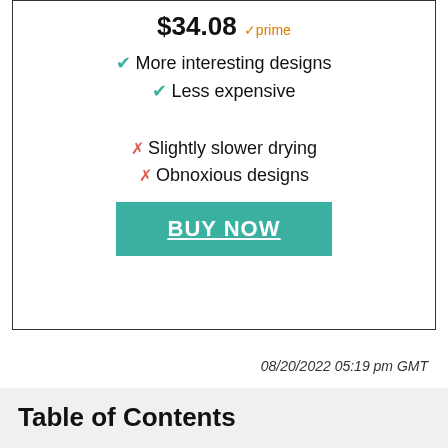$34.08 ✓prime
✓ More interesting designs
✓ Less expensive
✗ Slightly slower drying
✗ Obnoxious designs
BUY NOW
08/20/2022 05:19 pm GMT
Table of Contents